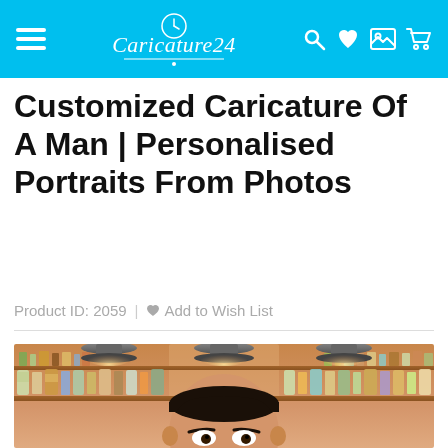Caricature24 — navigation header with logo and icons
Customized Caricature Of A Man | Personalised Portraits From Photos
Product ID: 2059 | Add to Wish List
[Figure (illustration): Caricature illustration of a man in a bar setting with shelves of bottles and hanging pendant lamps]